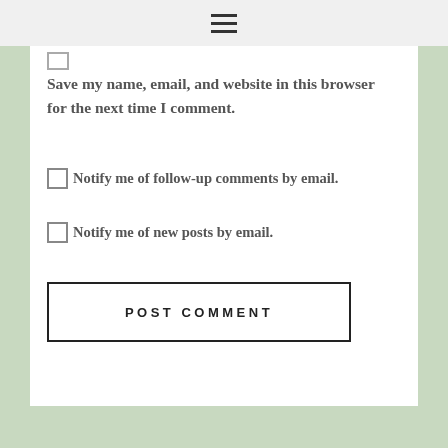Save my name, email, and website in this browser for the next time I comment.
Notify me of follow-up comments by email.
Notify me of new posts by email.
POST COMMENT